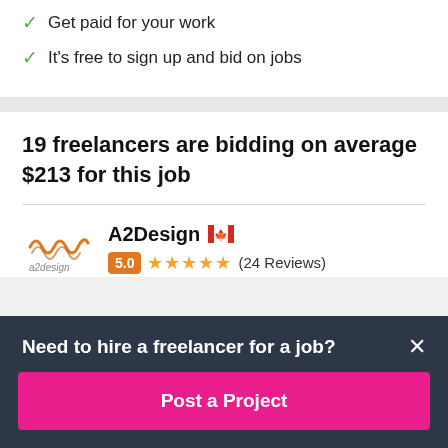Get paid for your work
It's free to sign up and bid on jobs
19 freelancers are bidding on average $213 for this job
A2Design 🇨🇦 5.0 ★★★★★ (24 Reviews)
Need to hire a freelancer for a job?
Post a Project